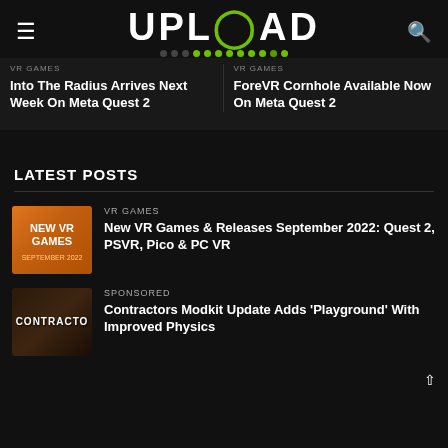UPLOAD
VR GAMES
Into The Radius Arrives Next Week On Meta Quest 2
VR GAMES
ForeVR Cornhole Available Now On Meta Quest 2
LATEST POSTS
VR GAMES
New VR Games & Releases September 2022: Quest 2, PSVR, Pico & PC VR
SPONSORED
Contractors Modkit Update Adds 'Playground' With Improved Physics